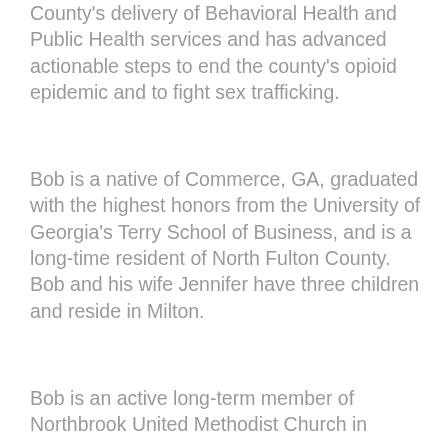County's delivery of Behavioral Health and Public Health services and has advanced actionable steps to end the county's opioid epidemic and to fight sex trafficking.
Bob is a native of Commerce, GA, graduated with the highest honors from the University of Georgia's Terry School of Business, and is a long-time resident of North Fulton County. Bob and his wife Jennifer have three children and reside in Milton.
Bob is an active long-term member of Northbrook United Methodist Church in